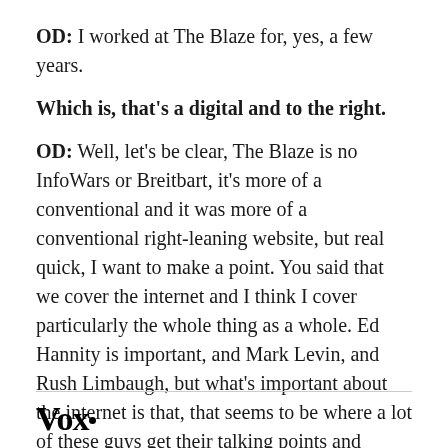OD: I worked at The Blaze for, yes, a few years.
Which is, that's a digital and to the right.
OD: Well, let's be clear, The Blaze is no InfoWars or Breitbart, it's more of a conventional and it was more of a conventional right-leaning website, but real quick, I want to make a point. You said that we cover the internet and I think I cover particularly the whole thing as a whole. Ed Hannity is important, and Mark Levin, and Rush Limbaugh, but what's important about the internet is that, that seems to be where a lot of these guys get their talking points and where the narratives emerge
Vox